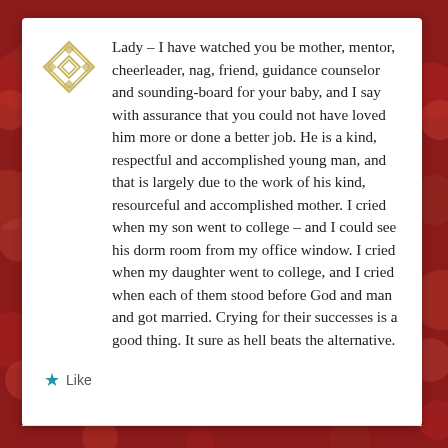[Figure (logo): Decorative geometric diamond/medallion icon in light gold/tan color]
Lady – I have watched you be mother, mentor, cheerleader, nag, friend, guidance counselor and sounding-board for your baby, and I say with assurance that you could not have loved him more or done a better job. He is a kind, respectful and accomplished young man, and that is largely due to the work of his kind, resourceful and accomplished mother. I cried when my son went to college – and I could see his dorm room from my office window. I cried when my daughter went to college, and I cried when each of them stood before God and man and got married. Crying for their successes is a good thing. It sure as hell beats the alternative.
Like